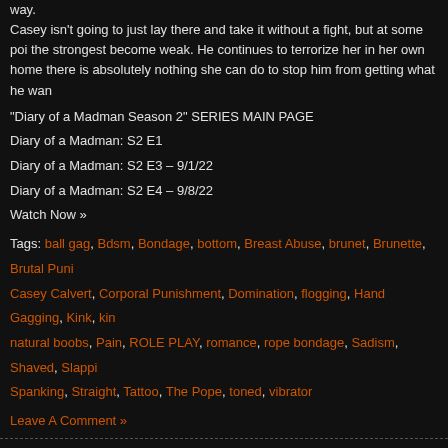way.
Casey isn't going to just lay there and take it without a fight, but at some point even the strongest become weak. He continues to terrorize her in her own home and there is absolutely nothing she can do to stop him from getting what he wants.
"Diary of a Madman Season 2" SERIES MAIN PAGE
Diary of a Madman: S2 E1
Diary of a Madman: S2 E3 – 9/1/22
Diary of a Madman: S2 E4 – 9/8/22
Watch Now »
Tags: ball gag, Bdsm, Bondage, bottom, Breast Abuse, brunet, Brunette, Brutal Punishment, Casey Calvert, Corporal Punishment, Domination, flogging, Hand Gagging, Kink, kink, natural boobs, Pain, ROLE PLAY, romance, rope bondage, Sadism, Shaved, Slapping, Spanking, Straight, Tattoo, The Pope, toned, vibrator
Leave A Comment »
Kink – Diary of a Madman, S2 E1: Poor Decisions
Posted in BDSM on August 25th, 2022 by bdsm-club_support
[Figure (photo): A person in dark clothing viewed from above, appearing to be leaning or crouching, with a blurred background.]